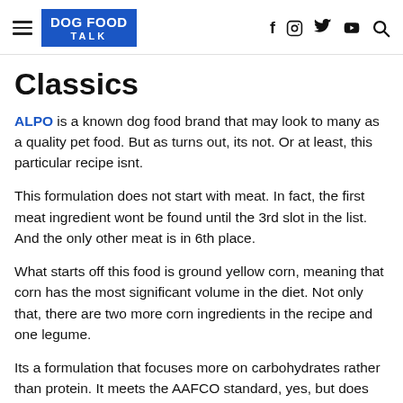DOG FOOD TALK
Classics
ALPO is a known dog food brand that may look to many as a quality pet food. But as turns out, its not. Or at least, this particular recipe isnt.
This formulation does not start with meat. In fact, the first meat ingredient wont be found until the 3rd slot in the list. And the only other meat is in 6th place.
What starts off this food is ground yellow corn, meaning that corn has the most significant volume in the diet. Not only that, there are two more corn ingredients in the recipe and one legume.
Its a formulation that focuses more on carbohydrates rather than protein. It meets the AAFCO standard, yes, but does not